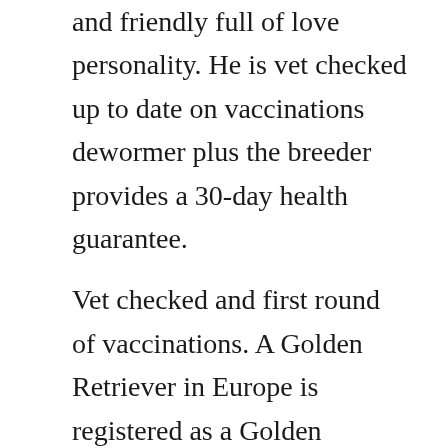and friendly full of love personality. He is vet checked up to date on vaccinations dewormer plus the breeder provides a 30-day health guarantee.
Vet checked and first round of vaccinations. A Golden Retriever in Europe is registered as a Golden Retriever and a Golden Retriever in the US. A wide variety of children and adults play an integral role in the socialization and development of the puppies from.
Both parents on site. We are located on over an acre of land in Southern California. Hill haven kennel is a state of the art english cream golden